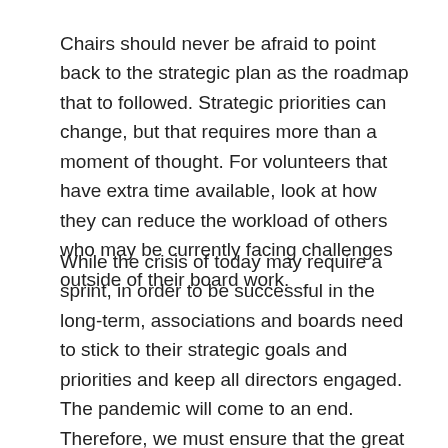Chairs should never be afraid to point back to the strategic plan as the roadmap that to followed. Strategic priorities can change, but that requires more than a moment of thought. For volunteers that have extra time available, look at how they can reduce the workload of others who may be currently facing challenges outside of their board work.
While the crisis of today may require a sprint, in order to be successful in the long-term, associations and boards need to stick to their strategic goals and priorities and keep all directors engaged. The pandemic will come to an end. Therefore, we must ensure that the great leaders at the board table are working